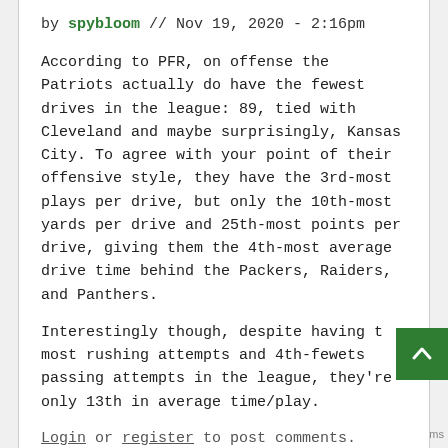by spybloom // Nov 19, 2020 - 2:16pm
According to PFR, on offense the Patriots actually do have the fewest drives in the league: 89, tied with Cleveland and maybe surprisingly, Kansas City. To agree with your point of their offensive style, they have the 3rd-most plays per drive, but only the 10th-most yards per drive and 25th-most points per drive, giving them the 4th-most average drive time behind the Packers, Raiders, and Panthers.
Interestingly though, despite having the most rushing attempts and 4th-fewest passing attempts in the league, they're only 13th in average time/play.
Login or register to post comments.